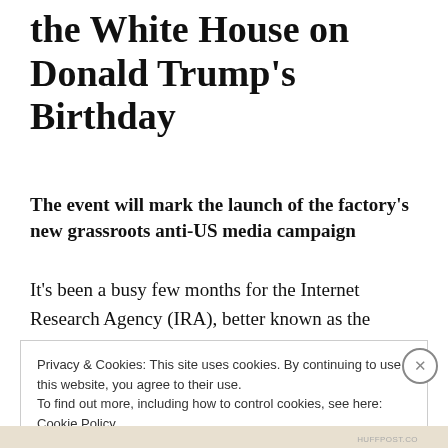the White House on Donald Trump's Birthday
The event will mark the launch of the factory's new grassroots anti-US media campaign
It's been a busy few months for the Internet Research Agency (IRA), better known as the Russian troll factory.
Privacy & Cookies: This site uses cookies. By continuing to use this website, you agree to their use.
To find out more, including how to control cookies, see here: Cookie Policy